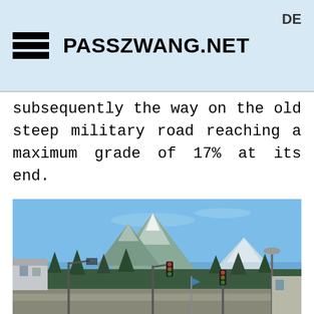PASSZWANG.NET  DE
subsequently the way on the old steep military road reaching a maximum grade of 17% at its end.
[Figure (photo): Outdoor photograph showing a mountain landscape with a prominent rocky peak under a clear blue sky. In the foreground there are street lights, traffic signals, trees, and buildings of a mountain town.]